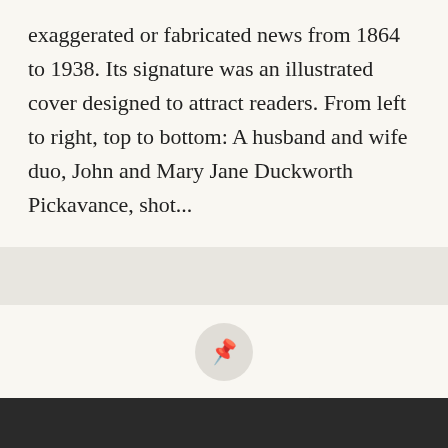exaggerated or fabricated news from 1864 to 1938. Its signature was an illustrated cover designed to attract readers. From left to right, top to bottom: A husband and wife duo, John and Mary Jane Duckworth Pickavance, shot...
Posted on July 19, 2018
Today in Horror History: July 19
[Figure (photo): Dark image strip at the bottom of the page, appears to be a horror-related photograph]